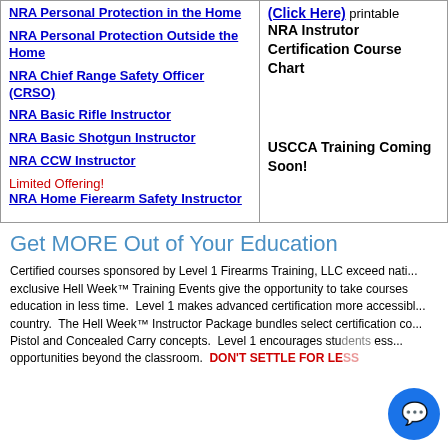NRA Personal Protection in the Home
NRA Personal Protection Outside the Home
NRA Chief Range Safety Officer (CRSO)
NRA Basic Rifle Instructor
NRA Basic Shotgun Instructor
NRA CCW Instructor
Limited Offering!
NRA Home Fierearm Safety Instructor
(Click Here) printable NRA Instrutor Certification Course Chart
USCCA Training Coming Soon!
Get MORE Out of Your Education
Certified courses sponsored by Level 1 Firearms Training, LLC exceed nati... exclusive Hell Week™ Training Events give the opportunity to take courses education in less time.  Level 1 makes advanced certification more accessibl... country.  The Hell Week™ Instructor Package bundles select certification co... Pistol and Concealed Carry concepts.  Level 1 encourages stu... ess... opportunities beyond the classroom.  DON'T SETTLE FOR LE...